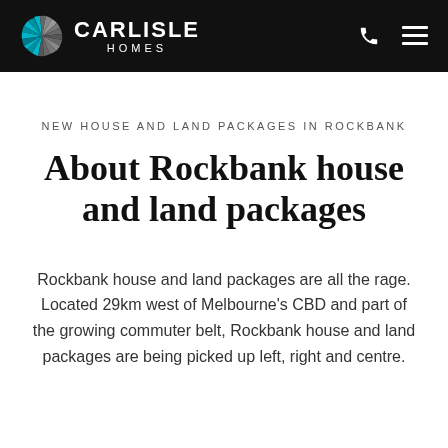CARLISLE HOMES
NEW HOUSE AND LAND PACKAGES IN ROCKBANK
About Rockbank house and land packages
Rockbank house and land packages are all the rage. Located 29km west of Melbourne's CBD and part of the growing commuter belt, Rockbank house and land packages are being picked up left, right and centre.